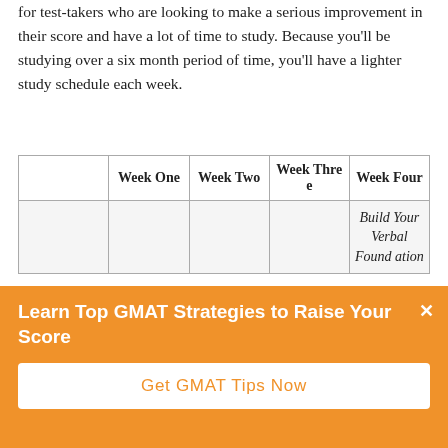for test-takers who are looking to make a serious improvement in their score and have a lot of time to study. Because you'll be studying over a six month period of time, you'll have a lighter study schedule each week.
|  | Week One | Week Two | Week Three | Week Four |
| --- | --- | --- | --- | --- |
|  |  |  |  | Build Your Verbal Foundation |
Learn Top GMAT Strategies to Raise Your Score
Get GMAT Tips Now